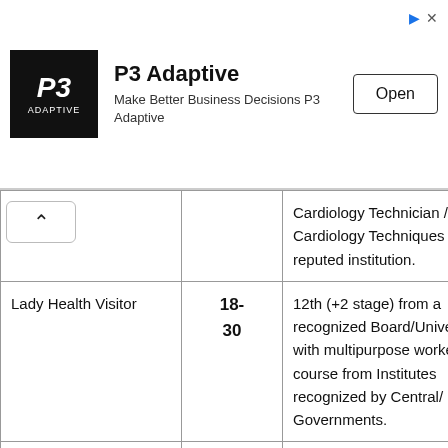[Figure (other): P3 Adaptive advertisement banner with logo, tagline 'Make Better Business Decisions P3 Adaptive', and Open button]
|  |  | Cardiology Technician / Cardiology Techniques of a reputed institution. |
| Lady Health Visitor | 18-30 | 12th (+2 stage) from a recognized Board/University with multipurpose workers course from Institutes recognized by Central/State Governments. |
|  |  | 12th (10 + 2 stage) in Science plus Diploma in Medical Laboratory Technology (DMLT) or |